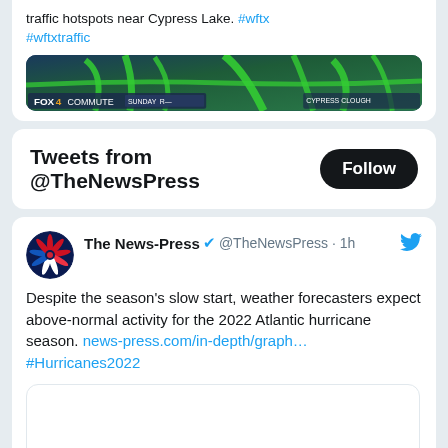traffic hotspots near Cypress Lake. #wftx #wftxtraffic
[Figure (screenshot): FOX4 traffic commute map showing Cypress Lake area with green traffic flow lines on aerial map]
Tweets from @TheNewsPress
Follow
[Figure (logo): The News-Press circular logo with palm tree design in red, white, and blue]
The News-Press @TheNewsPress · 1h
Despite the season's slow start, weather forecasters expect above-normal activity for the 2022 Atlantic hurricane season. news-press.com/in-depth/graph… #Hurricanes2022
[Figure (screenshot): Embedded article preview image, blank/loading]